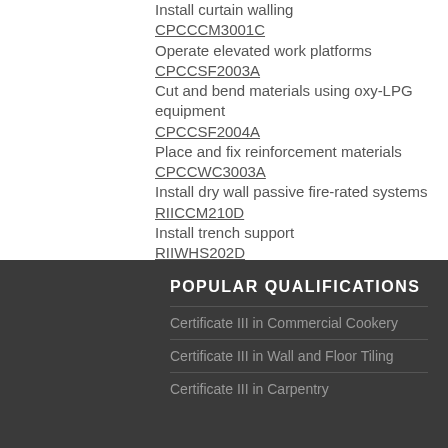CPCCCM3001C
Install curtain walling
CPCCSF2003A
Operate elevated work platforms
CPCCSF2004A
Cut and bend materials using oxy-LPG equipment
CPCCWC3003A
Place and fix reinforcement materials
RIICCM210D
Install dry wall passive fire-rated systems
RIIWHS202D
Install trench support
RIIWMG203D
Enter and work in confined spaces
Drain and dewater civil construction site
POPULAR QUALIFICATIONS
Certificate III in Commercial Cookery
Certificate III in Wall and Floor Tiling
Certificate III in Carpentry